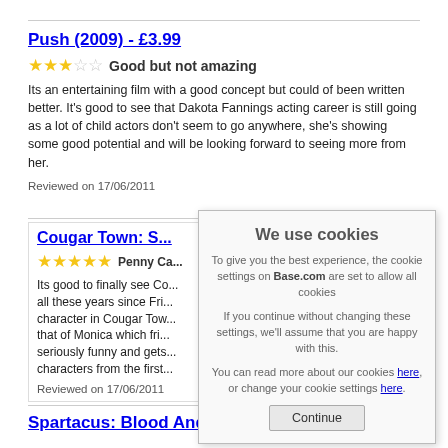Push (2009) - £3.99
★★★☆☆ Good but not amazing
Its an entertaining film with a good concept but could of been written better. It's good to see that Dakota Fannings acting career is still going as a lot of child actors don't seem to go anywhere, she's showing some good potential and will be looking forward to seeing more from her.
Reviewed on 17/06/2011
Cougar Town: S...
★★★★★ Penny Ca...
Its good to finally see Co... all these years since Fri... character in Cougar Tow... that of Monica which fri... seriously funny and gets... characters from the first...
Reviewed on 17/06/2011
We use cookies
To give you the best experience, the cookie settings on Base.com are set to allow all cookies
If you continue without changing these settings, we'll assume that you are happy with this.
You can read more about our cookies here, or change your cookie settings here.
Continue
Spartacus: Blood And Sand - Season 1